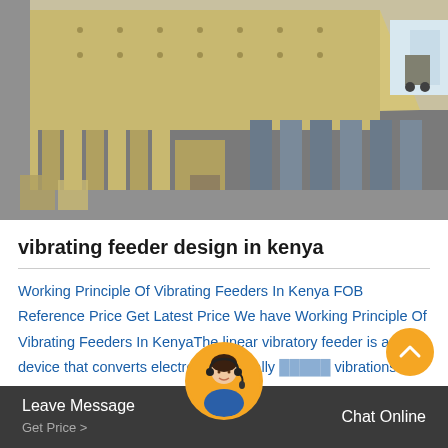[Figure (photo): Industrial vibrating feeder equipment — large yellow/beige metal fabricated machinery components arranged in a warehouse/factory floor, including large angled panels with rivets and rows of feeder trays.]
vibrating feeder design in kenya
Working Principle Of Vibrating Feeders In Kenya FOB Reference Price Get Latest Price We have Working Principle Of Vibrating Feeders In KenyaThe linear vibratory feeder is a device that converts electromagnetically vibrations into mechanica...
Leave Message  Get Price >    Chat Online